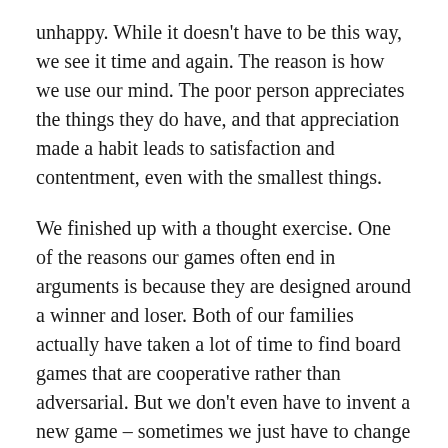unhappy. While it doesn't have to be this way, we see it time and again. The reason is how we use our mind. The poor person appreciates the things they do have, and that appreciation made a habit leads to satisfaction and contentment, even with the smallest things.
We finished up with a thought exercise. One of the reasons our games often end in arguments is because they are designed around a winner and loser. Both of our families actually have taken a lot of time to find board games that are cooperative rather than adversarial. But we don't even have to invent a new game – sometimes we just have to change how we approach an old game. So we thought of a few games and how we might make them less about winning and losing and more about enjoying the playing together. One example was Scrabble. Imagine everyone playing working together to get the highest combined